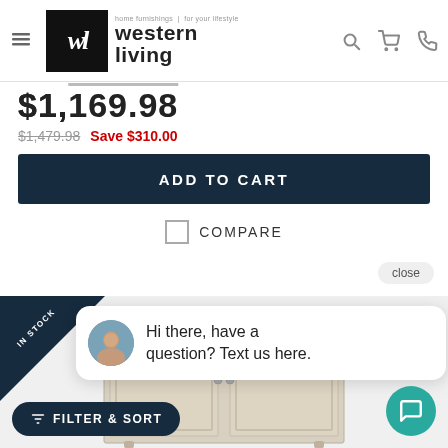[Figure (logo): Western Living logo — black square with 'wl' in white italic, accompanied by text 'western living' and tagline 'home furnishings | for your lifestyle']
$1,169.98
$1,479.98  Save $310.00
ADD TO CART
COMPARE
close
IN STOCK
[Figure (photo): A white/cream painted wooden cabinet with decorative paneled doors, shown from a slight angle]
Hi there, have a question? Text us here.